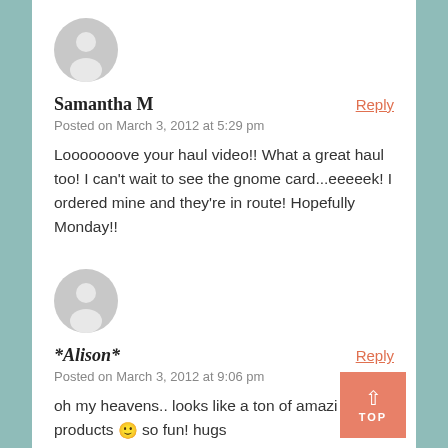[Figure (illustration): Default grey avatar icon (person silhouette) for first commenter]
Samantha M
Reply
Posted on March 3, 2012 at 5:29 pm
Looooooove your haul video!! What a great haul too! I can't wait to see the gnome card...eeeeek! I ordered mine and they're in route! Hopefully Monday!!
[Figure (illustration): Default grey avatar icon (person silhouette) for second commenter]
*Alison*
Reply
Posted on March 3, 2012 at 9:06 pm
oh my heavens.. looks like a ton of amazing products 🙂 so fun! hugs
[Figure (photo): Small circular photo of a third commenter at bottom of page]